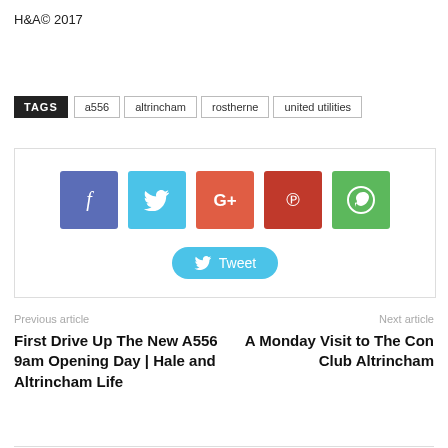H&A© 2017
TAGS  a556  altrincham  rostherne  united utilities
[Figure (infographic): Social share bar with Facebook, Twitter, Google+, Pinterest, WhatsApp buttons and a Tweet button]
Previous article
First Drive Up The New A556 9am Opening Day | Hale and Altrincham Life
Next article
A Monday Visit to The Con Club Altrincham